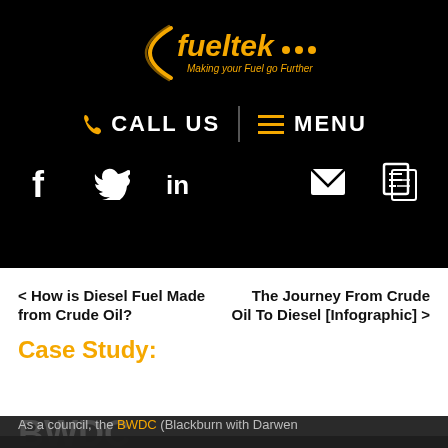[Figure (logo): Fueltek logo with tagline 'Making your Fuel go Further' on black background, yellow and white text with arc graphic]
[Figure (infographic): Navigation bar with CALL US and MENU buttons on black background, phone icon and hamburger menu icon in gold/yellow]
[Figure (infographic): Social media icons row: Facebook (f), Twitter (bird), LinkedIn (in), email (envelope), document icons, all white on black]
< How is Diesel Fuel Made from Crude Oil?
The Journey From Crude Oil To Diesel [Infographic] >
Case Study:
This site uses cookies - Find out more here
As a council, the BWDC (Blackburn with Darwen Borough Council)...